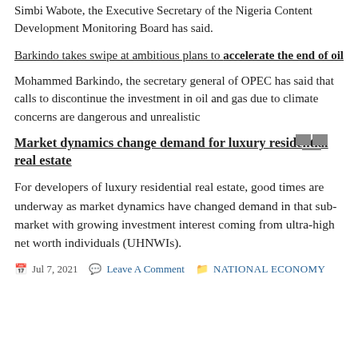Simbi Wabote, the Executive Secretary of the Nigeria Content Development Monitoring Board has said.
Barkindo takes swipe at ambitious plans to accelerate the end of oil
Mohammed Barkindo, the secretary general of OPEC has said that calls to discontinue the investment in oil and gas due to climate concerns are dangerous and unrealistic
Market dynamics change demand for luxury residential real estate
For developers of luxury residential real estate, good times are underway as market dynamics have changed demand in that sub-market with growing investment interest coming from ultra-high net worth individuals (UHNWIs).
Jul 7, 2021  Leave A Comment  NATIONAL ECONOMY